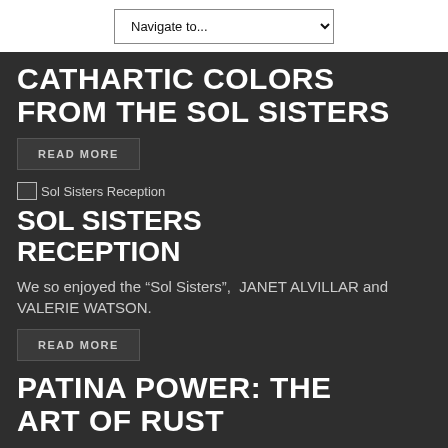Navigate to...
CATHARTIC COLORS FROM THE SOL SISTERS
READ MORE
[Figure (photo): Broken image placeholder labeled 'Sol Sisters Reception']
SOL SISTERS RECEPTION
We so enjoyed the “Sol Sisters”,  JANET ALVILLAR and VALERIE WATSON.
READ MORE
PATINA POWER: THE ART OF RUST